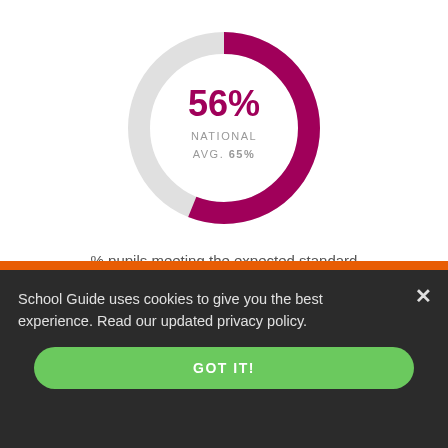[Figure (donut-chart): % pupils meeting the expected standard in reading, writing and mathematics]
% pupils meeting the expected standard in reading, writing and mathematics
School Guide uses cookies to give you the best experience. Read our updated privacy policy.
GOT IT!